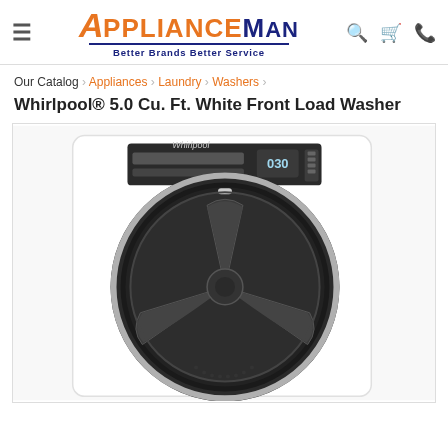ApplianceMan - Better Brands Better Service
Our Catalog › Appliances › Laundry › Washers ›
Whirlpool® 5.0 Cu. Ft. White Front Load Washer
[Figure (photo): Whirlpool white front load washer with dark circular door and control panel at top]